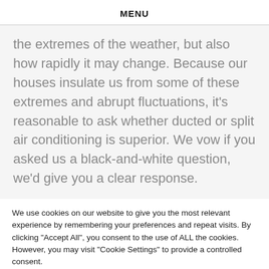MENU
the extremes of the weather, but also how rapidly it may change. Because our houses insulate us from some of these extremes and abrupt fluctuations, it's reasonable to ask whether ducted or split air conditioning is superior. We vow if you asked us a black-and-white question, we'd give you a clear response.
We use cookies on our website to give you the most relevant experience by remembering your preferences and repeat visits. By clicking "Accept All", you consent to the use of ALL the cookies. However, you may visit "Cookie Settings" to provide a controlled consent.
Cookie Settings | Accept All